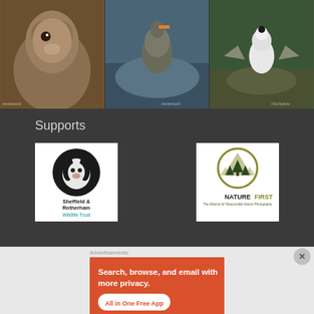[Figure (photo): Three wildlife photos side by side: a squirrel close-up, a goose standing by water, and a bird with wings spread on rocks]
Supports
[Figure (logo): Sheffield & Rotherham Wildlife Trust logo - black badger head in circle with text below]
[Figure (logo): Nature First - The Alliance for Responsible Nature Photography logo - olive green circle with trees and mountain]
Advertisements
[Figure (screenshot): DuckDuckGo advertisement banner - orange background with text 'Search, browse, and email with more privacy. All in One Free App' and phone mockup with DuckDuckGo logo]